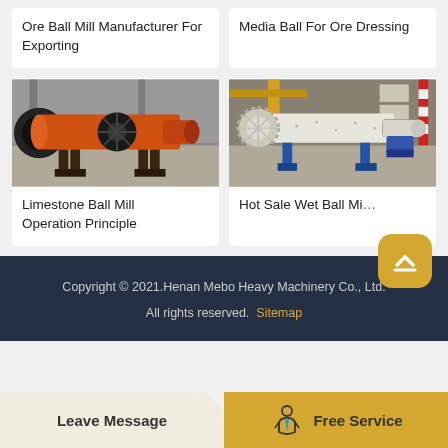Ore Ball Mill Manufacturer For Exporting
Media Ball For Ore Dressing
[Figure (photo): Orange cylindrical ball mill machine on support stands in industrial warehouse]
Limestone Ball Mill Operation Principle
[Figure (photo): White cylindrical ball mill machine with blue support structure in industrial setting]
Hot Sale Wet Ball Mi...
Copyright © 2021.Henan Mebo Heavy Machinery Co., Ltd. All rights reserved. Sitemap
Leave Message
Free Service